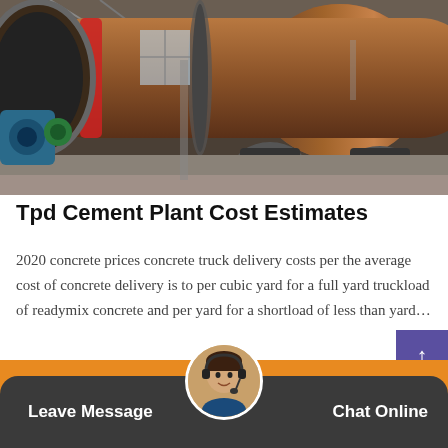[Figure (photo): Industrial cement plant machinery — large rotating drum/kiln with metal rollers and supports inside a factory building]
Tpd Cement Plant Cost Estimates
2020 concrete prices concrete truck delivery costs per the average cost of concrete delivery is to per cubic yard for a full yard truckload of readymix concrete and per yard for a shortload of less than yard…
[Figure (other): Orange 'Get Best Quote' call-to-action button]
[Figure (other): Dark bottom navigation bar with 'Leave Message' on left, customer service avatar in center, and 'Chat Online' on right]